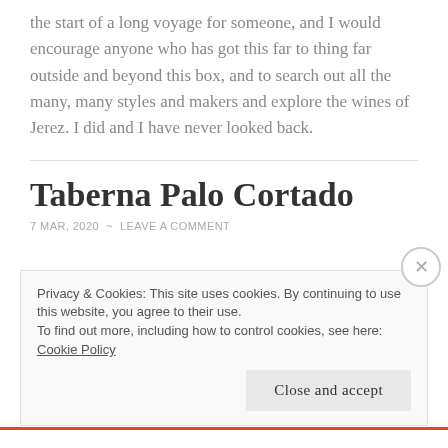the start of a long voyage for someone, and I would encourage anyone who has got this far to thing far outside and beyond this box, and to search out all the many, many styles and makers and explore the wines of Jerez. I did and I have never looked back.
Taberna Palo Cortado
7 MAR, 2020 ~ LEAVE A COMMENT
Privacy & Cookies: This site uses cookies. By continuing to use this website, you agree to their use.
To find out more, including how to control cookies, see here: Cookie Policy
Close and accept